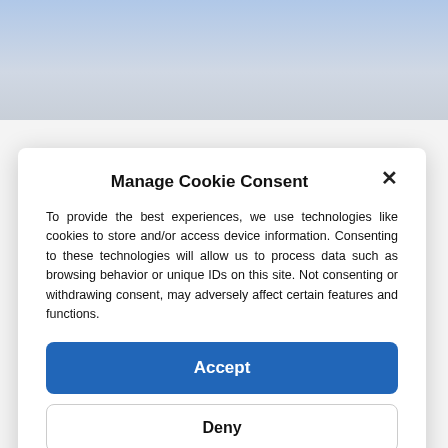[Figure (screenshot): Background showing a partial webpage with a blurred image at the top and gray page content below]
Manage Cookie Consent
To provide the best experiences, we use technologies like cookies to store and/or access device information. Consenting to these technologies will allow us to process data such as browsing behavior or unique IDs on this site. Not consenting or withdrawing consent, may adversely affect certain features and functions.
Accept
Deny
View preferences
Cookie Policy   Privacy Policy